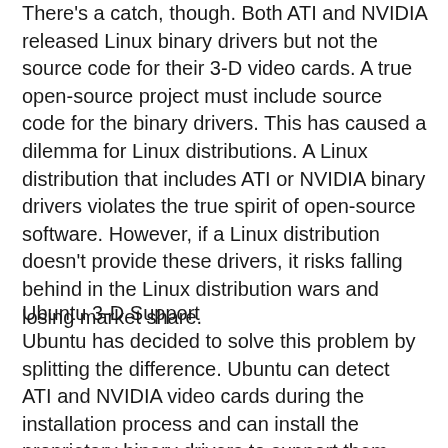There's a catch, though. Both ATI and NVIDIA released Linux binary drivers but not the source code for their 3-D video cards. A true open-source project must include source code for the binary drivers. This has caused a dilemma for Linux distributions. A Linux distribution that includes ATI or NVIDIA binary drivers violates the true spirit of open-source software. However, if a Linux distribution doesn't provide these drivers, it risks falling behind in the Linux distribution wars and losing market share.
Ubuntu 3-D Support
Ubuntu has decided to solve this problem by splitting the difference. Ubuntu can detect ATI and NVIDIA video cards during the installation process and can install the proprietary binary drivers to support them. Ubuntu calls these restricted hardware drivers. Although Ubuntu supplies restricted hardware drivers, it doesn't support them in any way. When you first log into the desktop after installation, Ubuntu displays a warning dialog telling you that restricted drivers have been installed. After the installation, an icon appears on the top panel, indicating that a restricted hardware driver has been installed and offering...